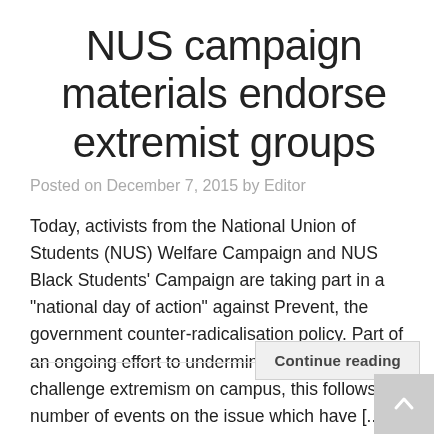NUS campaign materials endorse extremist groups
Posted on December 7, 2015 by Editor
Today, activists from the National Union of Students (NUS) Welfare Campaign and NUS Black Students' Campaign are taking part in a "national day of action" against Prevent, the government counter-radicalisation policy. Part of an ongoing effort to undermine attempts to challenge extremism on campus, this follows a number of events on the issue which have [...]
Continue reading